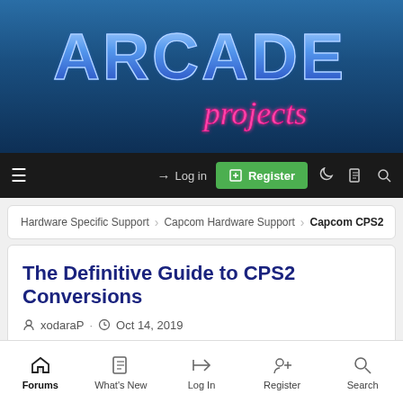[Figure (logo): Arcade Projects logo — neon blue block letters 'ARCADE' with pink cursive 'projects' underneath, on a dark blue gradient background]
Log in | Register
Hardware Specific Support > Capcom Hardware Support > Capcom CPS2
The Definitive Guide to CPS2 Conversions
xodaraP · Oct 14, 2019
xodaraP
Forums | What's New | Log In | Register | Search